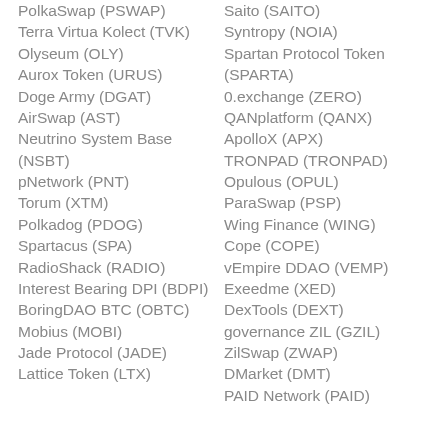PolkaSwap (PSWAP)
Saito (SAITO)
Terra Virtua Kolect (TVK)
Syntropy (NOIA)
Olyseum (OLY)
Spartan Protocol Token (SPARTA)
Aurox Token (URUS)
0.exchange (ZERO)
Doge Army (DGAT)
QANplatform (QANX)
AirSwap (AST)
ApolloX (APX)
Neutrino System Base (NSBT)
TRONPAD (TRONPAD)
pNetwork (PNT)
Opulous (OPUL)
Torum (XTM)
ParaSwap (PSP)
Polkadog (PDOG)
Wing Finance (WING)
Spartacus (SPA)
Cope (COPE)
RadioShack (RADIO)
vEmpire DDAO (VEMP)
Interest Bearing DPI (BDPI)
Exeedme (XED)
DexTools (DEXT)
BoringDAO BTC (OBTC)
governance ZIL (GZIL)
Mobius (MOBI)
ZilSwap (ZWAP)
Jade Protocol (JADE)
DMarket (DMT)
Lattice Token (LTX)
PAID Network (PAID)